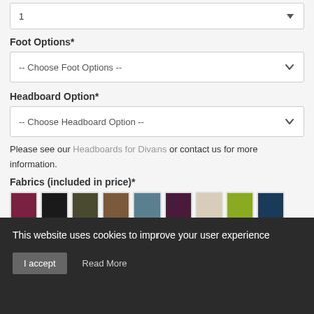1
Foot Options*
-- Choose Foot Options --
Headboard Option*
-- Choose Headboard Option --
Please see our Headboards for Divans or contact us for more information.
Fabrics (included in price)*
[Figure (other): Two rows of fabric color swatches: row 1 has burgundy/wine, black, dark olive, brown, teal/slate blue, dark purple, cream/beige, lime green, navy blue; row 2 has orange, hot pink/magenta, cream/ivory, dark maroon, red, salmon/peach, tan/khaki, taupe, teal/dark cyan]
This website uses cookies to improve your user experience
I accept
Read More